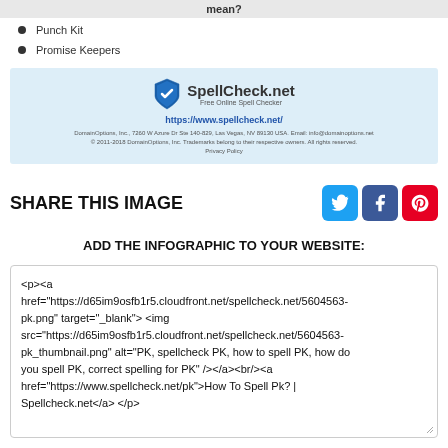mean?
Punch Kit
Promise Keepers
[Figure (infographic): SpellCheck.net banner with shield logo, URL https://www.spellcheck.net/, and DomainOptions address and copyright information]
SHARE THIS IMAGE
ADD THE INFOGRAPHIC TO YOUR WEBSITE:
<p><a href="https://d65im9osfb1r5.cloudfront.net/spellcheck.net/5604563-pk.png" target="_blank"> <img src="https://d65im9osfb1r5.cloudfront.net/spellcheck.net/5604563-pk_thumbnail.png" alt="PK, spellcheck PK, how to spell PK, how do you spell PK, correct spelling for PK" /></a><br/><a href="https://www.spellcheck.net/pk">How To Spell Pk? | Spellcheck.net</a> </p>